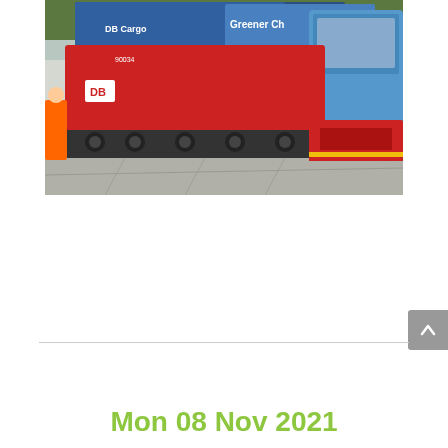[Figure (photo): A freight yard scene showing a red DB cargo locomotive/shunter on tracks, with blue and teal branded trucks/trailers in the background including a Greener Choices branded trailer and a blue truck cab. The foreground shows a large concrete/asphalt yard surface.]
Mon 08 Nov 2021